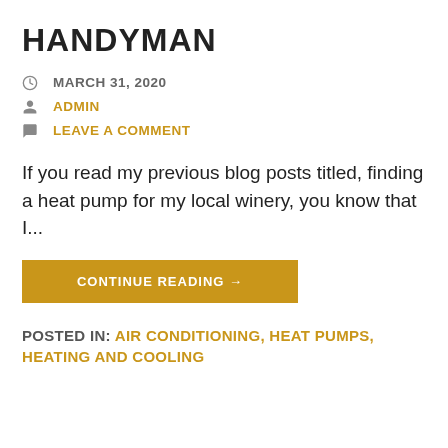HANDYMAN
MARCH 31, 2020
ADMIN
LEAVE A COMMENT
If you read my previous blog posts titled, finding a heat pump for my local winery, you know that I...
CONTINUE READING →
POSTED IN: AIR CONDITIONING, HEAT PUMPS, HEATING AND COOLING